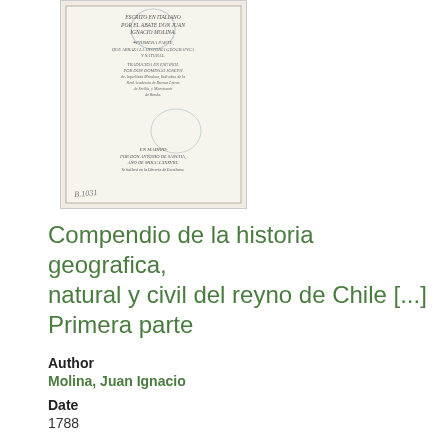[Figure (photo): Scanned title page of an old book written in Italian, showing text about 'Compendio de la historia geografica, natural y civil del reyno de Chile', with stamped library marks and handwritten notation at the bottom.]
Compendio de la historia geografica, natural y civil del reyno de Chile [...] Primera parte
Author
Molina, Juan Ignacio
Date
1788
Publication
En Madrid : Por Don Antonio de Sancha. [...] Se hallará en